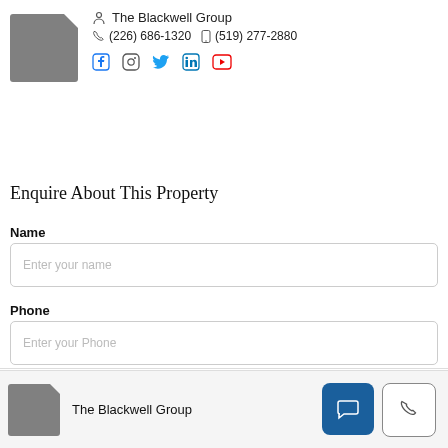[Figure (logo): Gray document/file logo icon for The Blackwell Group]
The Blackwell Group
(226) 686-1320  (519) 277-2880
[Figure (infographic): Social media icons: Facebook, Instagram, Twitter, LinkedIn, YouTube]
Enquire About This Property
Name
Enter your name
Phone
Enter your Phone
Email
[Figure (logo): Gray document/file logo icon for The Blackwell Group (bottom bar)]
The Blackwell Group